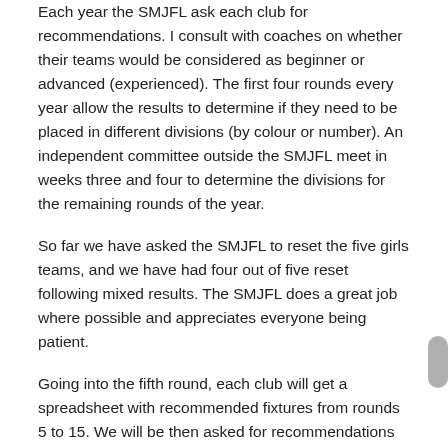Each year the SMJFL ask each club for recommendations. I consult with coaches on whether their teams would be considered as beginner or advanced (experienced). The first four rounds every year allow the results to determine if they need to be placed in different divisions (by colour or number). An independent committee outside the SMJFL meet in weeks three and four to determine the divisions for the remaining rounds of the year.
So far we have asked the SMJFL to reset the five girls teams, and we have had four out of five reset following mixed results. The SMJFL does a great job where possible and appreciates everyone being patient.
Going into the fifth round, each club will get a spreadsheet with recommended fixtures from rounds 5 to 15. We will be then asked for recommendations again. All ladders will go back to ‘zero’ and effectively the season starts again. All divisions from U8-10 will be known as another color